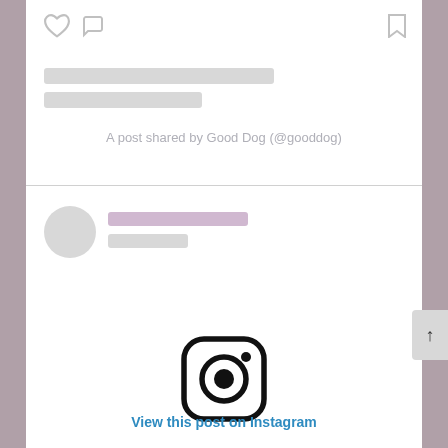[Figure (screenshot): Top portion of an Instagram embedded post card showing heart and comment icons, bookmark icon, placeholder loading bars, and attribution text 'A post shared by Good Dog (@gooddog)']
A post shared by Good Dog (@gooddog)
[Figure (screenshot): Bottom Instagram embedded post card showing a profile placeholder circle with loading bars, Instagram logo icon, and 'View this post on Instagram' link in blue]
View this post on Instagram